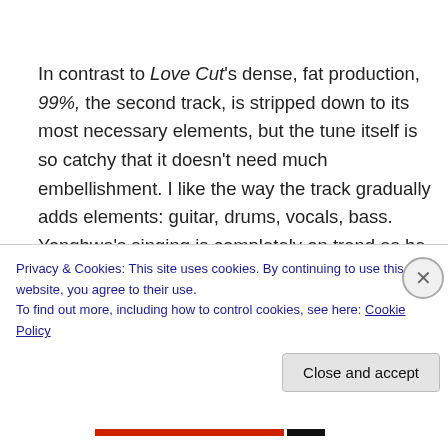In contrast to Love Cut's dense, fat production, 99%, the second track, is stripped down to its most necessary elements, but the tune itself is so catchy that it doesn't need much embellishment. I like the way the track gradually adds elements: guitar, drums, vocals, bass. Yonghwa's singing is completely on trend as he spits staccato vocals just like everyone's favorite trap singers.
This breezy little number is the epitome of the perfect
Privacy & Cookies: This site uses cookies. By continuing to use this website, you agree to their use.
To find out more, including how to control cookies, see here: Cookie Policy